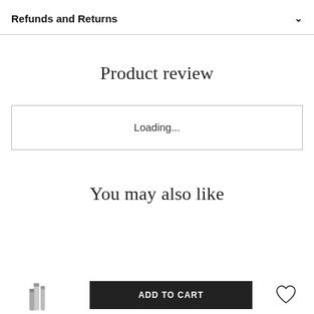Refunds and Returns
Product review
Loading...
You may also like
ADD TO CART